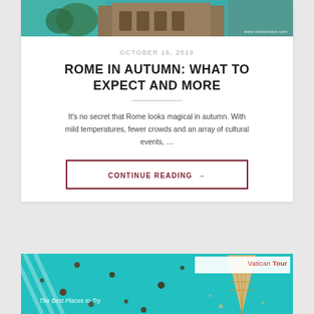[Figure (photo): Hero image of Rome with ancient architecture, teal and stone tones, with watermark www.vaticantour.com]
OCTOBER 16, 2019
ROME IN AUTUMN: WHAT TO EXPECT AND MORE
It's no secret that Rome looks magical in autumn. With mild temperatures, fewer crowds and an array of cultural events, …
CONTINUE READING →
[Figure (photo): Bottom card showing an ice cream cone on teal background with Vatican Tour logo and text 'The Best Places to Try']